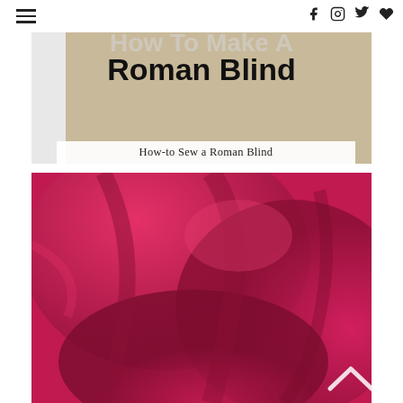How To Make A Roman Blind — How-to Sew a Roman Blind
[Figure (photo): Hero banner image showing Roman blind with text overlay 'How To Make A Roman Blind' and subtitle 'How-to Sew a Roman Blind'. Background shows a light beige/cream colored Roman blind.]
[Figure (photo): Close-up photo of folded/draped hot pink/magenta fabric showing the texture and folds of a Roman blind.]